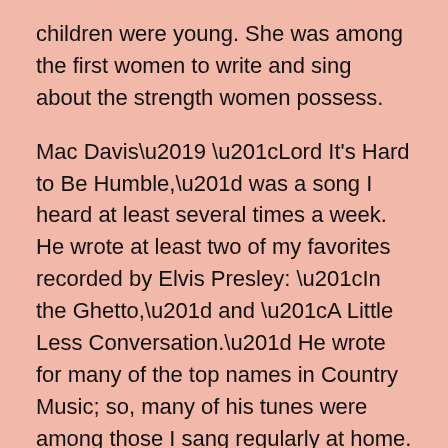children were young. She was among the first women to write and sing about the strength women possess.
Mac Davis’ “Lord It's Hard to Be Humble,” was a song I heard at least several times a week. He wrote at least two of my favorites recorded by Elvis Presley: “In the Ghetto,” and “A Little Less Conversation.” He wrote for many of the top names in Country Music; so, many of his tunes were among those I sang regularly at home.
For the two of them to have died on the same